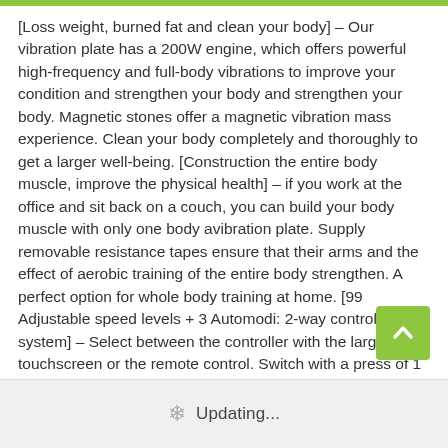[Loss weight, burned fat and clean your body] – Our vibration plate has a 200W engine, which offers powerful high-frequency and full-body vibrations to improve your condition and strengthen your body and strengthen your body. Magnetic stones offer a magnetic vibration mass experience. Clean your body completely and thoroughly to get a larger well-being. [Construction the entire body muscle, improve the physical health] – if you work at the office and sit back on a couch, you can build your body muscle with only one body avibration plate. Supply removable resistance tapes ensure that their arms and the effect of aerobic training of the entire body strengthen. A perfect option for whole body training at home. [99 Adjustable speed levels + 3 Automodi: 2-way control system] – Select between the controller with the large LCD touchscreen or the remote control. Switch with a press of 1 to 99 oscillation speed or between 10 automatic training programs. 10-15 minutes Fitness staining machine and 90 minutes of jogging the same calories burned.
Updating...